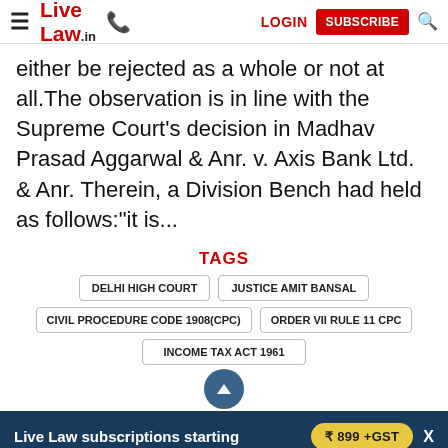Live Law | LOGIN | SUBSCRIBE
either be rejected as a whole or not at all.The observation is in line with the Supreme Court's decision in Madhav Prasad Aggarwal & Anr. v. Axis Bank Ltd. & Anr. Therein, a Division Bench had held as follows:"it is...
TAGS
DELHI HIGH COURT
JUSTICE AMIT BANSAL
CIVIL PROCEDURE CODE 1908(CPC)
ORDER VII RULE 11 CPC
INCOME TAX ACT 1961
Live Law subscriptions starting ₹ 899 +GST | LAW FIRMS | + MORE